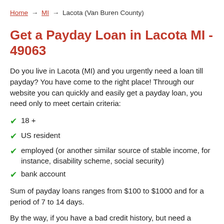Home → MI → Lacota (Van Buren County)
Get a Payday Loan in Lacota MI - 49063
Do you live in Lacota (MI) and you urgently need a loan till payday? You have come to the right place! Through our website you can quickly and easily get a payday loan, you need only to meet certain criteria:
18 +
US resident
employed (or another similar source of stable income, for instance, disability scheme, social security)
bank account
Sum of payday loans ranges from $100 to $1000 and for a period of 7 to 14 days.
By the way, if you have a bad credit history, but need a payday loan in Lacota? Do not be nervous, we can approve borrowers with bad credit history.
Also you do not need a fax, clearance payday loan is paperless.
You only need to correctly fill out and submit an online application